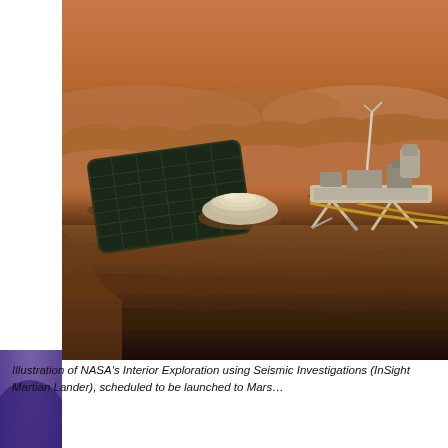[Figure (illustration): Artist's illustration of NASA's InSight Mars lander on the surface of Mars, showing the lander with deployed solar panels and seismic instrument dome on the Martian surface. The lower portion shows a cross-section view of the Martian subsurface layers in dark brown tones.]
Illustration of NASA's Interior Exploration using Seismic Investigations (InSight Martian Lander), scheduled to be launched to Mars...